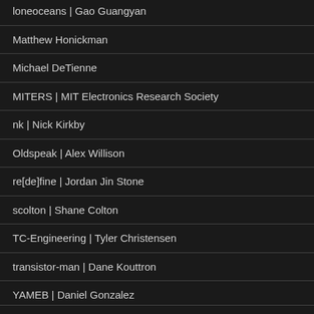loneoceans | Gao Guangyan
Matthew Honickman
Michael DeTienne
MITERS | MIT Electronics Research Society
nk | Nick Kirkby
Oldspeak | Alex Willison
re[de]fine | Jordan Jin Stone
scolton | Shane Colton
TC-Engineering | Tyler Christensen
transistor-man | Dane Kouttron
YAMEB | Daniel Gonzalez